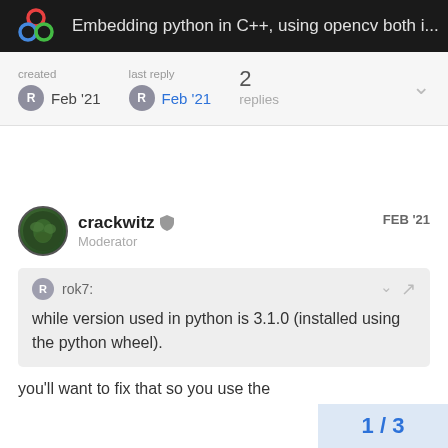Embedding python in C++, using opencv both i...
created Feb '21   last reply Feb '21   2 replies
crackwitz  Moderator   FEB '21
rok7: while version used in python is 3.1.0 (installed using the python wheel).
you'll want to fix that so you use the